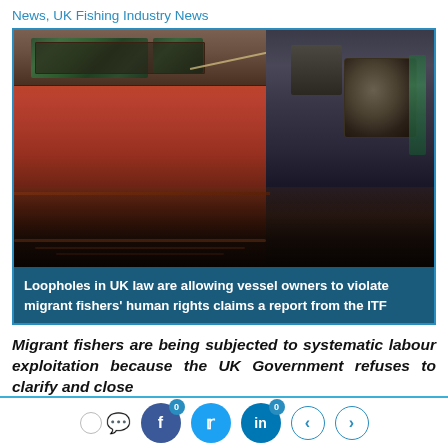News, UK Fishing Industry News
[Figure (photo): Two fishing boats moored in water, with red/rust-colored hull on the left and dark machinery/equipment on the right, rope visible between them]
Loopholes in UK law are allowing vessel owners to violate migrant fishers' human rights claims a report from the ITF
Migrant fishers are being subjected to systematic labour exploitation because the UK Government refuses to clarify and close
0 [comment icon] [Facebook 0] [Twitter] [LinkedIn 0] < >